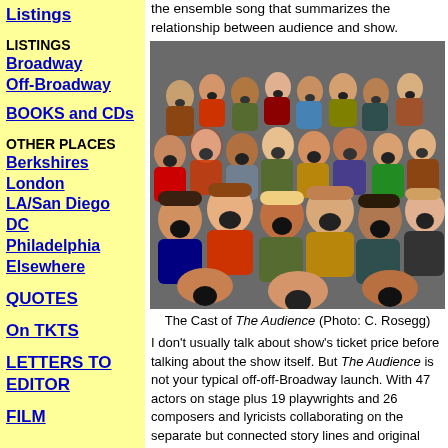Listings
LISTINGS
Broadway
Off-Broadway
BOOKS and CDs
OTHER PLACES
Berkshires
London
LA/San Diego
DC
Philadelphia
Elsewhere
QUOTES
On TKTS
LETTERS TO EDITOR
FILM
the ensemble song that summarizes the relationship between audience and show.
[Figure (photo): Group photo of the cast of The Audience, showing many performers with mouths open as if singing, arranged in rows like an audience or choir.]
The Cast of The Audience (Photo: C. Rosegg)
I don't usually talk about show's ticket price before talking about the show itself. But The Audience is not your typical off-off-Broadway launch. With 47 actors on stage plus 19 playwrights and 26 composers and lyricists collaborating on the separate but connected story lines and original songs, the $19 admission cost deserves to be mentioned right up fr...
Mounting a new show on this grand a sc...